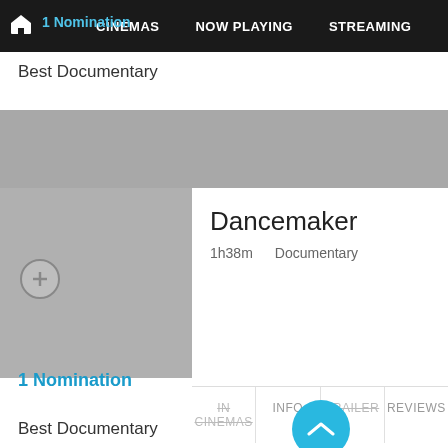🏠 1 Nomination | CINEMAS | NOW PLAYING | STREAMING | MORE
Best Documentary
[Figure (other): Gray banner/advertisement placeholder area]
Dancemaker
1h38m   Documentary
IN CINEMAS   INFO   TRAILER   REVIEWS
1 Nomination
Best Documentary